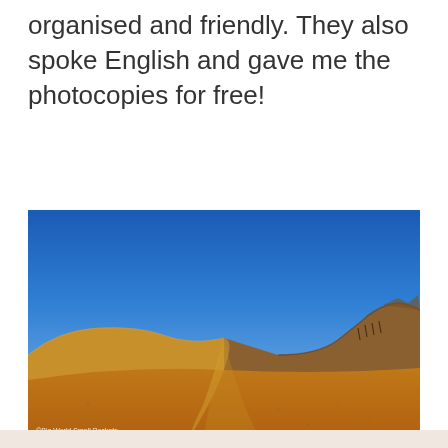organised and friendly. They also spoke English and gave me the photocopies for free!
[Figure (photo): Desert landscape photograph showing a sandy trail leading between sandy dunes under a bright blue sky, with rocky hills on the right side. Watermark reads '©Big World Small Pockets'.]